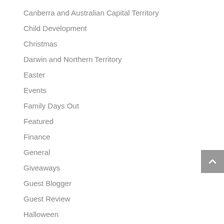Canberra and Australian Capital Territory
Child Development
Christmas
Darwin and Northern Territory
Easter
Events
Family Days Out
Featured
Finance
General
Giveaways
Guest Blogger
Guest Review
Halloween